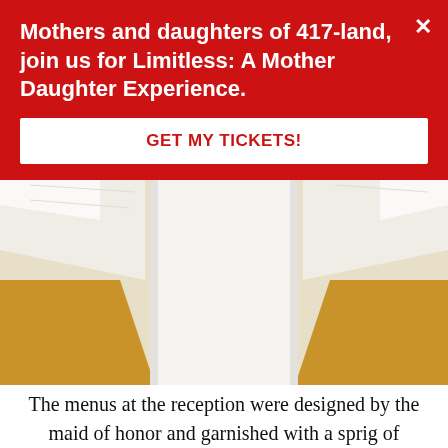Mothers and daughters of 417-land, join us for Limitless: A Mother Daughter Experience.
GET MY TICKETS!
[Figure (photo): Close-up photo of white folded napkins or menus on a table with golden/amber colored decorative elements visible on both sides]
The menus at the reception were designed by the maid of honor and garnished with a sprig of rosemary, the groom’s favorite herb